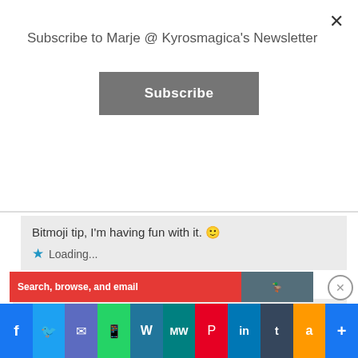Subscribe to Marje @ Kyrosmagica's Newsletter
Subscribe
Bitmoji tip, I'm having fun with it. 🙂
Loading...
Marje @ Kyrosmagica
August 5, 2016 at 6:40 am
Oh got both your comments Debby!! Lol.. 🙂
Advertisements
Search, browse, and email
Facebook Twitter Email WhatsApp WordPress MeWe Pinterest LinkedIn Tumblr Amazon More